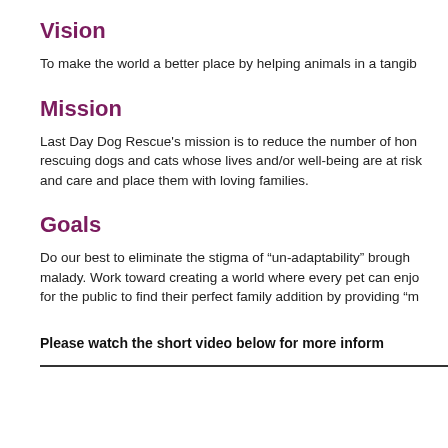Vision
To make the world a better place by helping animals in a tangib
Mission
Last Day Dog Rescue's mission is to reduce the number of hon rescuing dogs and cats whose lives and/or well-being are at risk and care and place them with loving families.
Goals
Do our best to eliminate the stigma of “un-adaptability” brough malady. Work toward creating a world where every pet can enjo for the public to find their perfect family addition by providing “m
Please watch the short video below for more inform